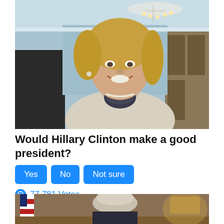[Figure (photo): Hillary Clinton smiling at an event, wearing a light tweed jacket with a dark patterned scarf/necklace, with a crystal chandelier and blue walls in the background]
Would Hillary Clinton make a good president?
Yes  No  Not sure
77,781 Votes
[Figure (photo): Older white-haired man in a suit leaning over a desk, with an American flag visible in the background, partial view]